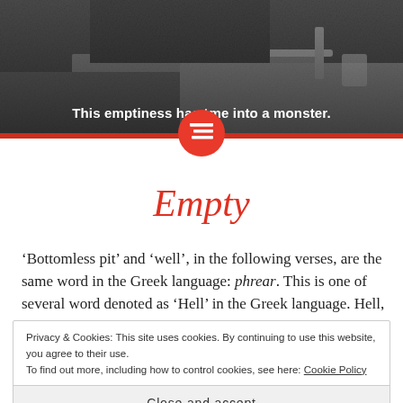[Figure (photo): Black and white photo of bathroom sink area with objects on counter, overlaid with bold white text]
This emptiness has turned me into a monster.
Empty
'Bottomless pit' and 'well', in the following verses, are the same word in the Greek language: phrear. This is one of several word denoted as 'Hell' in the Greek language. Hell, then, can be a state of the
Privacy & Cookies: This site uses cookies. By continuing to use this website, you agree to their use.
To find out more, including how to control cookies, see here: Cookie Policy
Close and accept
smoke of a great furnace: and the sun and